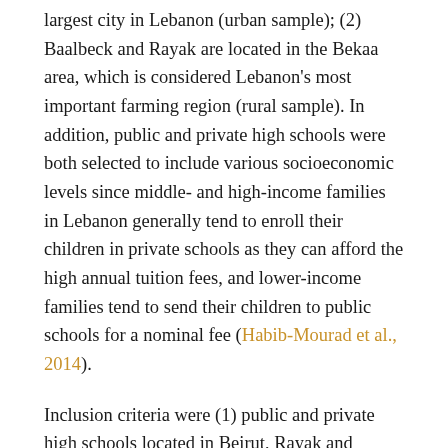largest city in Lebanon (urban sample); (2) Baalbeck and Rayak are located in the Bekaa area, which is considered Lebanon's most important farming region (rural sample). In addition, public and private high schools were both selected to include various socioeconomic levels since middle- and high-income families in Lebanon generally tend to enroll their children in private schools as they can afford the high annual tuition fees, and lower-income families tend to send their children to public schools for a nominal fee (Habib-Mourad et al., 2014).
Inclusion criteria were (1) public and private high schools located in Beirut, Rayak and Baalbeck; (2) schools starting at eight in the morning and having